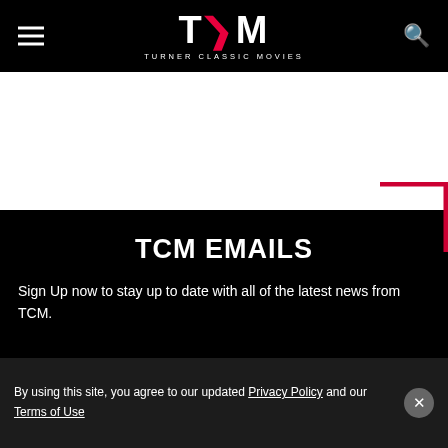TCM — TURNER CLASSIC MOVIES
[Figure (logo): TCM Turner Classic Movies logo with pink/red arrow between T and M on black background, with hamburger menu icon on left and search icon on right]
TCM EMAILS
Sign Up now to stay up to date with all of the latest news from TCM.
SIGN UP →
By using this site, you agree to our updated Privacy Policy and our Terms of Use